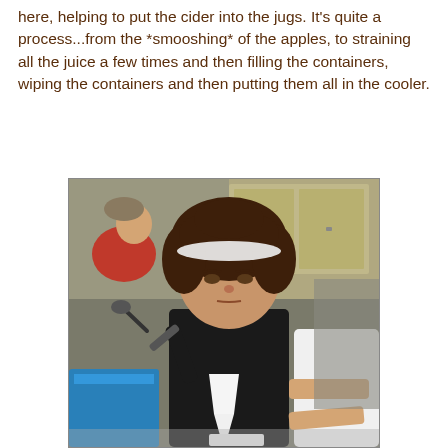here, helping to put the cider into the jugs. It's quite a process...from the *smooshing* of the apples, to straining all the juice a few times and then filling the containers, wiping the containers and then putting them all in the cooler.
[Figure (photo): A girl with curly brown hair and a white headband, wearing a black shirt, pouring liquid through a funnel into a container. Another child in red is visible to the left, and a person in white is on the right. Kitchen cabinets are visible in the background.]